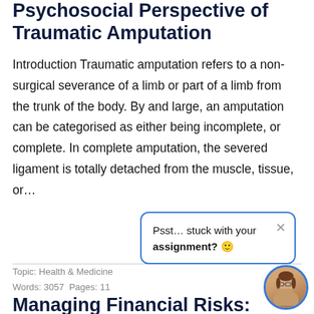Psychosocial Perspective of Traumatic Amputation
Introduction Traumatic amputation refers to a non-surgical severance of a limb or part of a limb from the trunk of the body. By and large, an amputation can be categorised as either being incomplete, or complete. In complete amputation, the severed ligament is totally detached from the muscle, tissue, or…
Topic: Health & Medicine
Words: 3057  Pages: 11
Managing Financial Risks: Concept, Techniques and …
[Figure (screenshot): Chat popup saying 'Psst… stuck with your assignment? 🙂' with a close button, and a circular avatar of a woman with glasses]
Risk Concept An adverse impact on an organization and its systems if it is created by a possibility or …